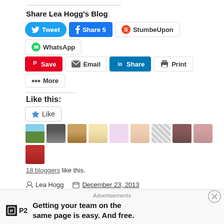Share Lea Hogg's Blog
[Figure (infographic): Social share buttons: Tweet, Share 5, StumbeUpon, WhatsApp, Save, Email, Share, Print, More]
Like this:
[Figure (infographic): Like button and 10 blogger avatar thumbnails]
18 bloggers like this.
Lea Hogg  December 23, 2013  Uncategorized
#biscuits, #briffa, #cookies, #dessert, #foodblog, #goodfoodeveryday, #island' #mediterranean, #pastry, #pics, #qassata, #qassatat, #renato, #ricotta, #sweet, #tart, Baking, Bites, Desserts, Food and Drink, Publications, Recipes, Sweets, Uncategorized
Advertisements
[Figure (infographic): P2 advertisement: Getting your team on the same page is easy. And free.]